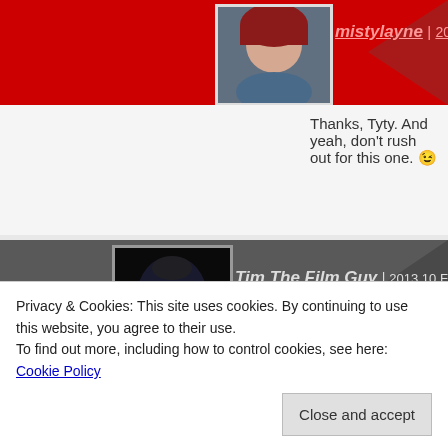mistylayne | 2013.10.February at 4:07 pm
Thanks, Tyty. And yeah, don't rush out for this one. 😉
Tim The Film Guy | 2013.10.February at 4:00 pm
Hmm i'd watch this, or not if its aimed at younger 😐
mistylayne | 2013.10.February at 4:09 pm
Privacy & Cookies: This site uses cookies. By continuing to use this website, you agree to their use.
To find out more, including how to control cookies, see here: Cookie Policy
Close and accept